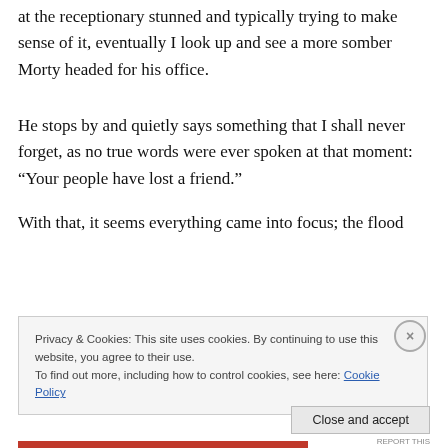at the receptionary stunned and typically trying to make sense of it, eventually I look up and see a more somber Morty headed for his office.
He stops by and quietly says something that I shall never forget, as no true words were ever spoken at that moment: “Your people have lost a friend.”
With that, it seems everything came into focus; the flood
Privacy & Cookies: This site uses cookies. By continuing to use this website, you agree to their use.
To find out more, including how to control cookies, see here: Cookie Policy
Close and accept